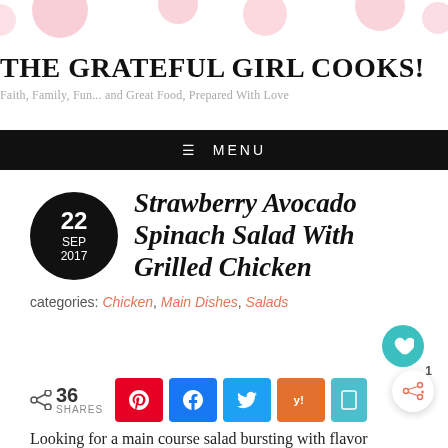THE GRATEFUL GIRL COOKS! Faith, Family, Fun... and Great Food, Prepared With Love
MENU
Strawberry Avocado Spinach Salad With Grilled Chicken
categories: Chicken, Main Dishes, Salads
36 SHARES
Looking for a main course salad bursting with flavor